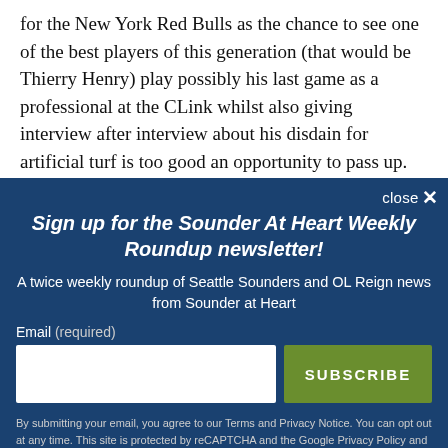for the New York Red Bulls as the chance to see one of the best players of this generation (that would be Thierry Henry) play possibly his last game as a professional at the CLink whilst also giving interview after interview about his disdain for artificial turf is too good an opportunity to pass up.  Plus, New England
close ✕
Sign up for the Sounder At Heart Weekly Roundup newsletter!
A twice weekly roundup of Seattle Sounders and OL Reign news from Sounder at Heart
Email (required)
SUBSCRIBE
By submitting your email, you agree to our Terms and Privacy Notice. You can opt out at any time. This site is protected by reCAPTCHA and the Google Privacy Policy and Terms of Service apply.